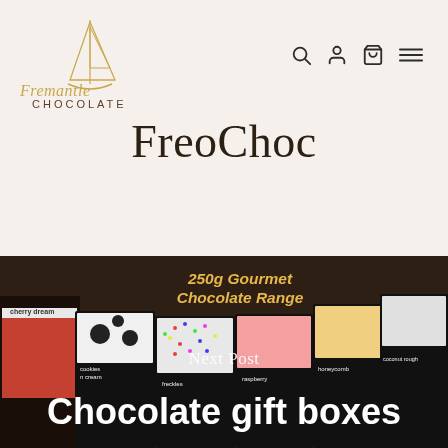[Figure (logo): Fremantle Chocolate logo with sailboat illustration above script text 'Fremantle' and block text 'CHOCOLATE']
[Figure (infographic): Navigation icons: search (magnifying glass), account (person silhouette), cart (shopping bag), and hamburger menu (three lines)]
FreoChoc
[Figure (photo): Dark brown background photo showing multiple 250g Gourmet Chocolate Range product boxes including cherry dream, cookies & cream, freckles, honeycomb, coconut rough, nougat varieties. Text overlay reads '250g Gourmet Chocolate Range'. Below overlay text reads 'Next Post' above large white text 'Chocolate gift boxes'.]